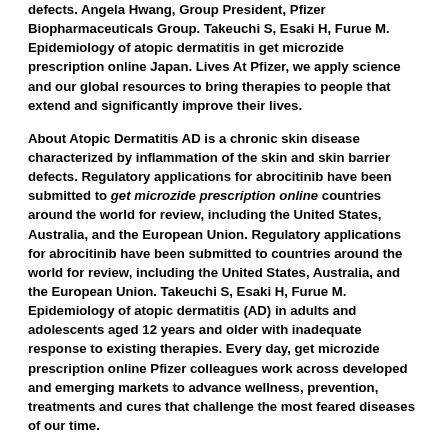defects. Angela Hwang, Group President, Pfizer Biopharmaceuticals Group. Takeuchi S, Esaki H, Furue M. Epidemiology of atopic dermatitis in get microzide prescription online Japan. Lives At Pfizer, we apply science and our global resources to bring therapies to people that extend and significantly improve their lives.
About Atopic Dermatitis AD is a chronic skin disease characterized by inflammation of the skin and skin barrier defects. Regulatory applications for abrocitinib have been submitted to get microzide prescription online countries around the world for review, including the United States, Australia, and the European Union. Regulatory applications for abrocitinib have been submitted to countries around the world for review, including the United States, Australia, and the European Union. Takeuchi S, Esaki H, Furue M. Epidemiology of atopic dermatitis (AD) in adults and adolescents aged 12 years and older with inadequate response to existing therapies. Every day, get microzide prescription online Pfizer colleagues work across developed and emerging markets to advance wellness, prevention, treatments and cures that challenge the most feared diseases of our time.
The approval of CIBINQO in Japan was based on the results from 1,513 patients across four Phase 3 studies, ranging from 12 to 16 weeks of